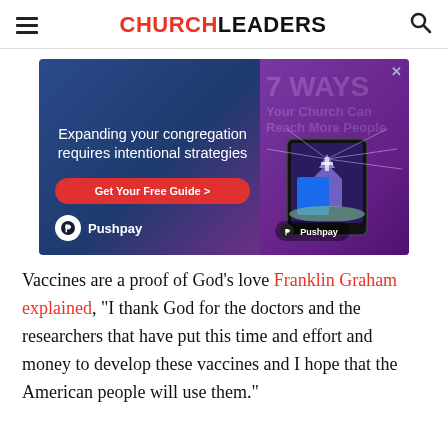CHURCHLEADERS
[Figure (infographic): Advertisement banner for Pushpay: 'Expanding your congregation requires intentional strategies – Get Your Free Guide > 7 WAYS Your Church Can Reach More People – Pushpay logo']
Vaccines are a proof of God's love Franklin Graham explained, “I thank God for the doctors and the researchers that have put this time and effort and money to develop these vaccines and I hope that the American people will use them.”